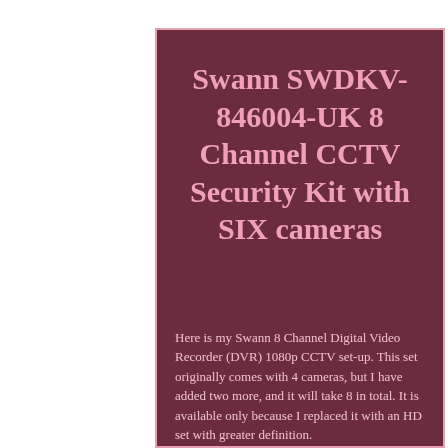Swann SWDKV-846004-UK 8 Channel CCTV Security Kit with SIX cameras
Here is my Swann 8 Channel Digital Video Recorder (DVR) 1080p CCTV set-up. This set originally comes with 4 cameras, but I have added two more, and it will take 8 in total. It is available only because I replaced it with an HD set with greater definition.